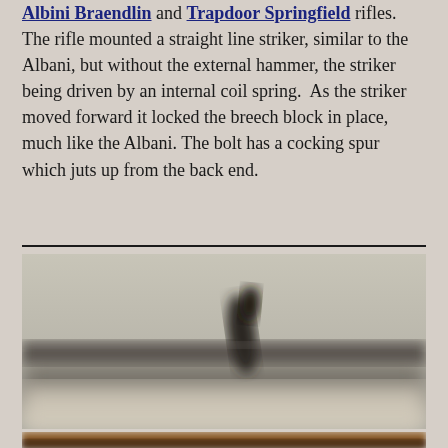Albini Braendlin and Trapdoor Springfield rifles. The rifle mounted a straight line striker, similar to the Albani, but without the external hammer, the striker being driven by an internal coil spring. As the striker moved forward it locked the breech block in place, much like the Albani. The bolt has a cocking spur which juts up from the back end.
[Figure (photo): Close-up blurred photograph of a rifle bolt mechanism showing a cocking spur protruding upward, with blurred background]
[Figure (photo): Close-up photograph of a rifle, partially visible at the bottom of the page, showing a wooden stock and metal parts]